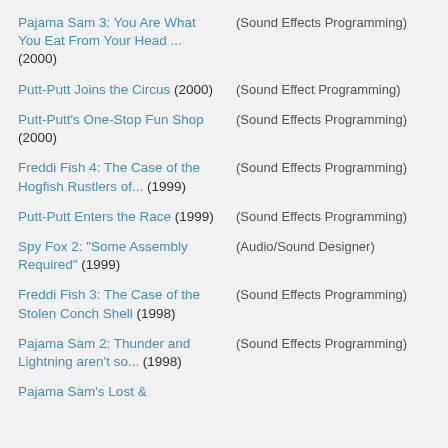Pajama Sam 3: You Are What You Eat From Your Head ... (2000) — (Sound Effects Programming)
Putt-Putt Joins the Circus (2000) — (Sound Effect Programming)
Putt-Putt's One-Stop Fun Shop (2000) — (Sound Effects Programming)
Freddi Fish 4: The Case of the Hogfish Rustlers of... (1999) — (Sound Effects Programming)
Putt-Putt Enters the Race (1999) — (Sound Effects Programming)
Spy Fox 2: "Some Assembly Required" (1999) — (Audio/Sound Designer)
Freddi Fish 3: The Case of the Stolen Conch Shell (1998) — (Sound Effects Programming)
Pajama Sam 2: Thunder and Lightning aren't so... (1998) — (Sound Effects Programming)
Pajama Sam's Lost &